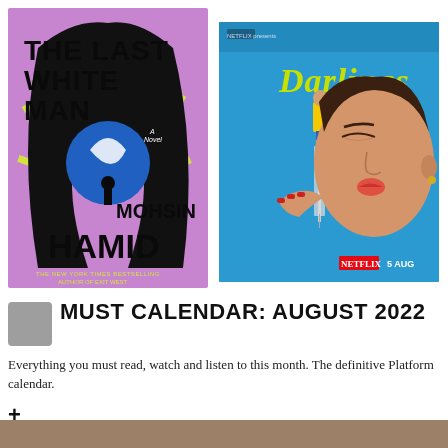[Figure (illustration): Book cover: 'The Last White Man' by Mohsin Hamid — purple/lavender background with bold black abstract figure, blue globe/moon shape, yellow accent stripes]
[Figure (photo): Movie poster: 'Darlings' — woman with red nails blowing a small figure off a syringe, blue background, Netflix branding, '5 AUG' release date]
MUST CALENDAR: AUGUST 2022
Everything you must read, watch and listen to this month. The definitive Platform calendar.
+
[Figure (photo): Partial image visible at bottom of page — cropped, indeterminate subject]